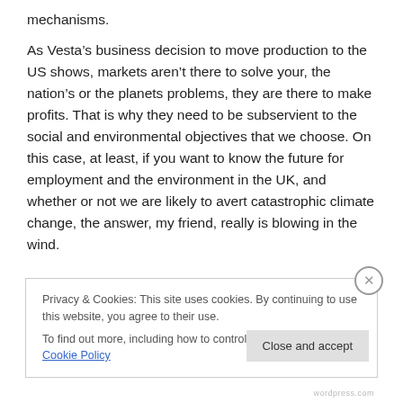mechanisms.
As Vesta’s business decision to move production to the US shows, markets aren’t there to solve your, the nation’s or the planets problems, they are there to make profits. That is why they need to be subservient to the social and environmental objectives that we choose. On this case, at least, if you want to know the future for employment and the environment in the UK, and whether or not we are likely to avert catastrophic climate change, the answer, my friend, really is blowing in the wind.
Privacy & Cookies: This site uses cookies. By continuing to use this website, you agree to their use.
To find out more, including how to control cookies, see here: Cookie Policy